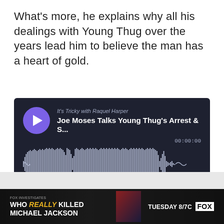What's more, he explains why all his dealings with Young Thug over the years lead him to believe the man has a heart of gold.
[Figure (screenshot): Megaphone podcast audio player embed showing 'It’s Tricky with Raquel Harper' episode titled 'Joe Moses Talks Young Thug’s Arrest & S...' with waveform, timestamp 00:00:00, and controls for Share, Subscribe, Cookie Policy, Description.]
[Figure (screenshot): Advertisement banner for 'Who REALLY Killed Michael Jackson' airing Tuesday 8/7c on FOX.]